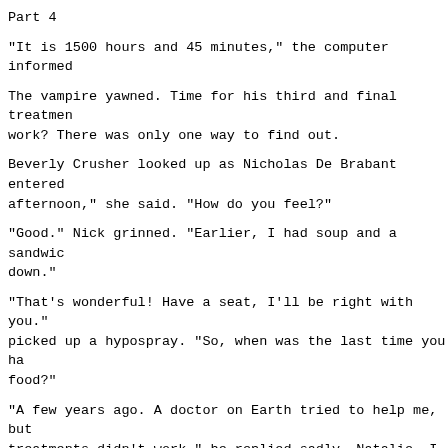Part 4
"It is 1500 hours and 45 minutes," the computer informed
The vampire yawned. Time for his third and final treatmen work? There was only one way to find out.
Beverly Crusher looked up as Nicholas De Brabant entered afternoon," she said. "How do you feel?"
"Good." Nick grinned. "Earlier, I had soup and a sandwich down."
"That's wonderful! Have a seat, I'll be right with you." picked up a hypospray. "So, when was the last time you ha food?"
"A few years ago. A doctor on Earth tried to help me, but treatments didn't work," he replied sadly. Natalie, I hop me now, wherever you are, Nick thought. She would have be learn that he'd eaten.
"Well, hopefully this will." Nick held out his arm, and s hypospray plunger. "That's it," Beverly said with a smile
Nick felt the darkness vanishing from him, as if it had n there. Tears of joy welled up in his eyes.
"I think you did it, Doctor Crusher."
Setter las Crusher ended "Year Revel as a title New Da D